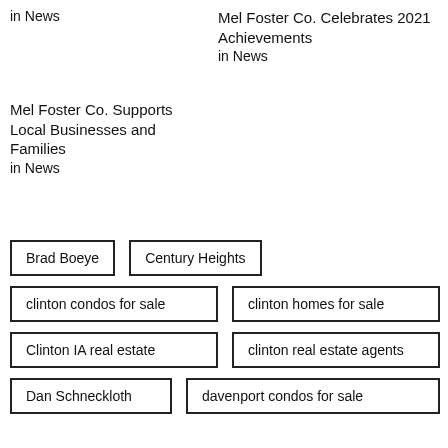in News
Mel Foster Co. Celebrates 2021 Achievements
in News
Mel Foster Co. Supports Local Businesses and Families
in News
Brad Boeye
Century Heights
clinton condos for sale
clinton homes for sale
Clinton IA real estate
clinton real estate agents
Dan Schneckloth
davenport condos for sale